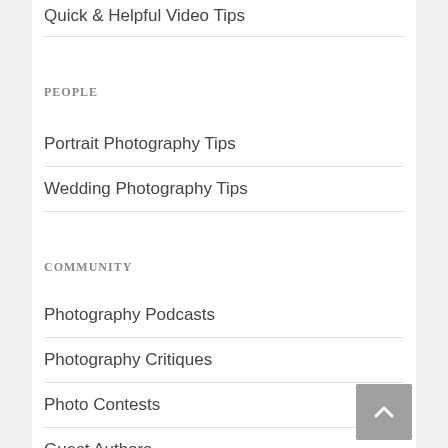Quick & Helpful Video Tips
PEOPLE
Portrait Photography Tips
Wedding Photography Tips
COMMUNITY
Photography Podcasts
Photography Critiques
Photo Contests
Guest Authors